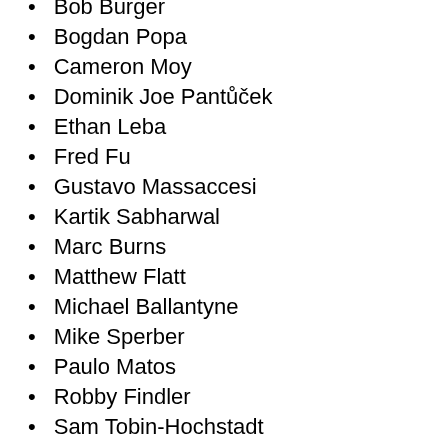Bob Burger
Bogdan Popa
Cameron Moy
Dominik Joe Pantůček
Ethan Leba
Fred Fu
Gustavo Massaccesi
Kartik Sabharwal
Marc Burns
Matthew Flatt
Michael Ballantyne
Mike Sperber
Paulo Matos
Robby Findler
Sam Tobin-Hochstadt
Stephen De Gabrielle